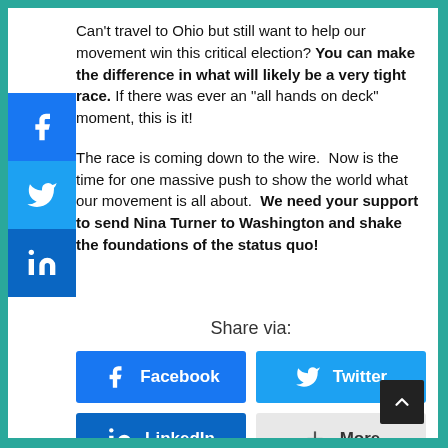Can't travel to Ohio but still want to help our movement win this critical election? You can make the difference in what will likely be a very tight race. If there was ever an “all hands on deck” moment, this is it!
The race is coming down to the wire. Now is the time for one massive push to show the world what our movement is all about. We need your support to send Nina Turner to Washington and shake the foundations of the status quo!
Share via:
[Figure (infographic): Social share buttons: Facebook, Twitter, LinkedIn, More]
[Figure (infographic): Left sidebar with Facebook, Twitter, LinkedIn social media icons]